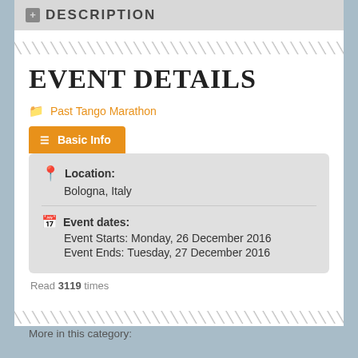+ DESCRIPTION
EVENT DETAILS
Past Tango Marathon
≡ Basic Info
Location:
Bologna, Italy
Event dates:
Event Starts: Monday, 26 December 2016
Event Ends: Tuesday, 27 December 2016
Read 3119 times
More in this category: